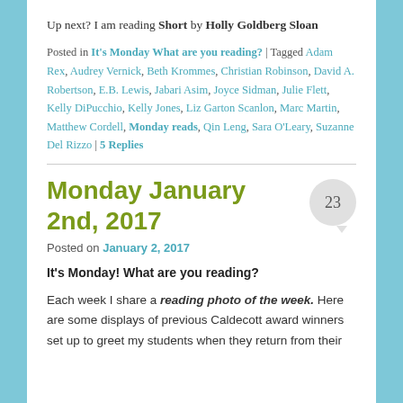Up next? I am reading Short by Holly Goldberg Sloan
Posted in It's Monday What are you reading? | Tagged Adam Rex, Audrey Vernick, Beth Krommes, Christian Robinson, David A. Robertson, E.B. Lewis, Jabari Asim, Joyce Sidman, Julie Flett, Kelly DiPucchio, Kelly Jones, Liz Garton Scanlon, Marc Martin, Matthew Cordell, Monday reads, Qin Leng, Sara O'Leary, Suzanne Del Rizzo | 5 Replies
Monday January 2nd, 2017
Posted on January 2, 2017
It's Monday! What are you reading?
Each week I share a reading photo of the week. Here are some displays of previous Caldecott award winners set up to greet my students when they return from their